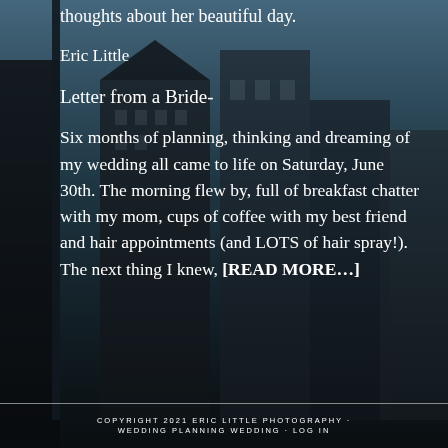thoughts about her beautiful day.
Eric Little
Letter from a Bride-
Six months of planning, thinking and dreaming of my wedding all came to life on Saturday, June 30th. The morning flew by, full of breakfast chatter with my mom, cups of coffee with my best friend and hair appointments (and LOTS of hair spray!). The next thing I knew, [READ MORE…]
COPYRIGHT 2021 ERIC LITTLE PHOTOGRAPHY · Wedding Planning Wedding · LOG IN